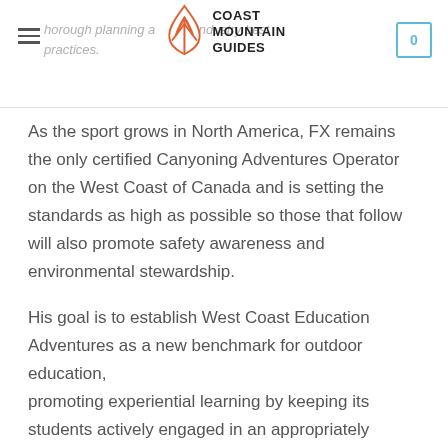thorough planning and industry best practices. [Coast Mountain Guides logo]
As the sport grows in North America, FX remains the only certified Canyoning Adventures Operator on the West Coast of Canada and is setting the standards as high as possible so those that follow will also promote safety awareness and environmental stewardship.
His goal is to establish West Coast Education Adventures as a new benchmark for outdoor education,
promoting experiential learning by keeping its students actively engaged in an appropriately challenged and mindful experience.
Whether hanging rope-taught below a waterfall,